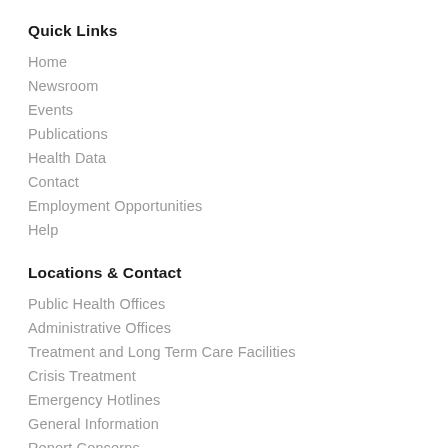Quick Links
Home
Newsroom
Events
Publications
Health Data
Contact
Employment Opportunities
Help
Locations & Contact
Public Health Offices
Administrative Offices
Treatment and Long Term Care Facilities
Crisis Treatment
Emergency Hotlines
General Information
Report Concerns